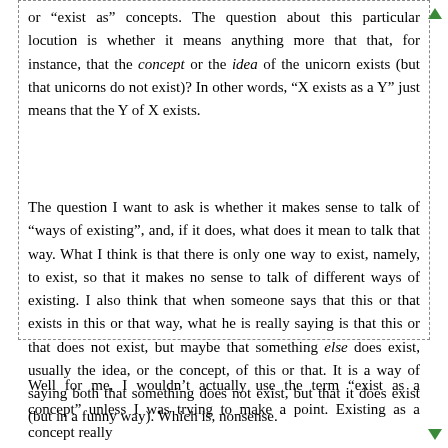or "exist as" concepts. The question about this particular locution is whether it means anything more that that, for instance, that the concept or the idea of the unicorn exists (but that unicorns do not exist)? In other words, "X exists as a Y" just means that the Y of X exists.
The question I want to ask is whether it makes sense to talk of "ways of existing", and, if it does, what does it mean to talk that way. What I think is that there is only one way to exist, namely, to exist, so that it makes no sense to talk of different ways of existing. I also think that when someone says that this or that exists in this or that way, what he is really saying is that this or that does not exist, but maybe that something else does exist, usually the idea, or the concept, of this or that. It is a way of saying both that something does not exist, but that it does exist (but in a funny way). Which is, nonsense.
Well for me, I wouldn't actually use the term "exist as a concept" unless I was trying to make a point. Existing as a concept really